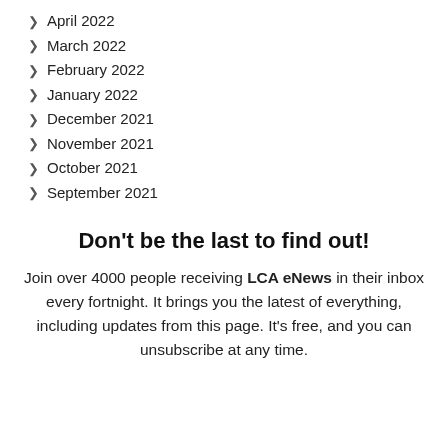April 2022
March 2022
February 2022
January 2022
December 2021
November 2021
October 2021
September 2021
Don't be the last to find out!
Join over 4000 people receiving LCA eNews in their inbox every fortnight. It brings you the latest of everything, including updates from this page. It's free, and you can unsubscribe at any time.